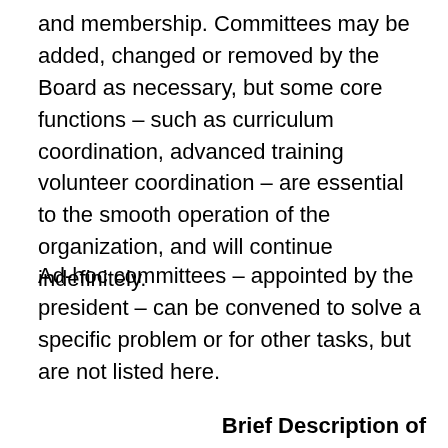and membership. Committees may be added, changed or removed by the Board as necessary, but some core functions – such as curriculum coordination, advanced training volunteer coordination – are essential to the smooth operation of the organization, and will continue indefinitely.
Ad-hoc committees – appointed by the president – can be convened to solve a specific problem or for other tasks, but are not listed here.
Brief Description of